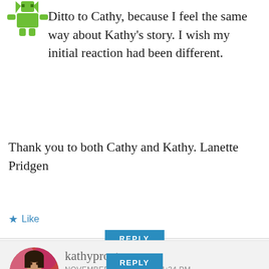[Figure (illustration): Green cartoon character avatar icon at top-left, a stylized green figure with angular design.]
Ditto to Cathy, because I feel the same way about Kathy's story. I wish my initial reaction had been different.
Thank you to both Cathy and Kathy. Lanette Pridgen
★ Like
REPLY
[Figure (photo): Circular profile photo of kathyproctor, a woman shown from shoulders up with dark hair, in front of a colorful floral background.]
kathyproctor
NOVEMBER 29, 2018 AT 11:34 PM
Thank you so much!